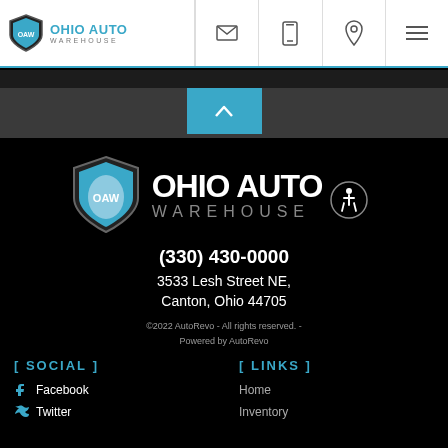Ohio Auto Warehouse - navigation header with logo, email, phone, location, menu icons
[Figure (logo): Ohio Auto Warehouse logo with shield icon and blue text in header]
[Figure (logo): Large Ohio Auto Warehouse logo with shield, white bold OHIO AUTO and gray WAREHOUSE text, accessibility icon]
(330) 430-0000
3533 Lesh Street NE, Canton, Ohio 44705
©2022 AutoRevo - All rights reserved. - Powered by AutoRevo
[ SOCIAL ]
[ LINKS ]
Facebook
Twitter
Home
Inventory